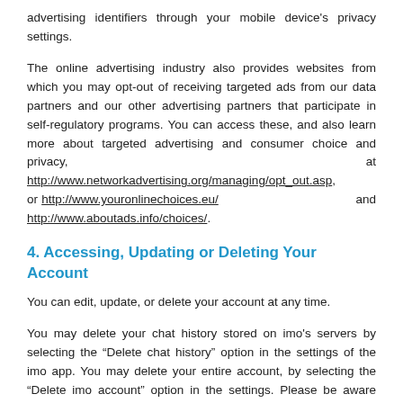advertising identifiers through your mobile device's privacy settings.
The online advertising industry also provides websites from which you may opt-out of receiving targeted ads from our data partners and our other advertising partners that participate in self-regulatory programs. You can access these, and also learn more about targeted advertising and consumer choice and privacy, at http://www.networkadvertising.org/managing/opt_out.asp, or http://www.youronlinechoices.eu/ and http://www.aboutads.info/choices/.
4. Accessing, Updating or Deleting Your Account
You can edit, update, or delete your account at any time.
You may delete your chat history stored on imo's servers by selecting the “Delete chat history” option in the settings of the imo app. You may delete your entire account, by selecting the “Delete imo account” option in the settings. Please be aware that, for technical reasons, when you delete messages, your chat history,